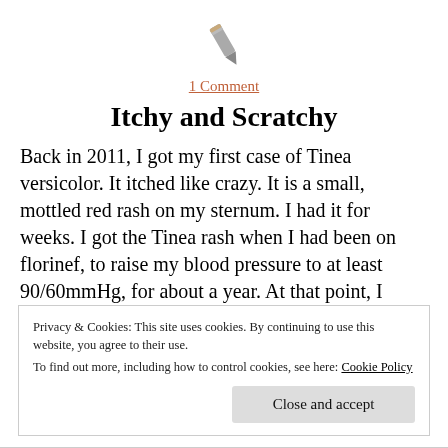[Figure (illustration): Gray pencil icon centered at top of page]
1 Comment
Itchy and Scratchy
Back in 2011, I got my first case of Tinea versicolor. It itched like crazy. It is a small, mottled red rash on my sternum. I had it for weeks. I got the Tinea rash when I had been on florinef, to raise my blood pressure to at least 90/60mmHg, for about a year. At that point, I
Privacy & Cookies: This site uses cookies. By continuing to use this website, you agree to their use.
To find out more, including how to control cookies, see here: Cookie Policy
Close and accept